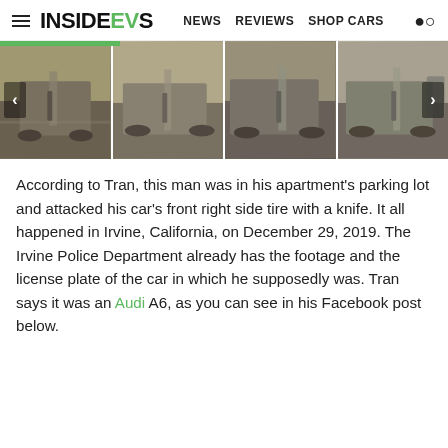InsideEVs — NEWS  REVIEWS  SHOP CARS
[Figure (photo): Four thumbnail frames from parking garage security footage showing a person walking near cars. A green progress bar is visible at the top. Left and right navigation arrows are present on the strip.]
According to Tran, this man was in his apartment's parking lot and attacked his car's front right side tire with a knife. It all happened in Irvine, California, on December 29, 2019. The Irvine Police Department already has the footage and the license plate of the car in which he supposedly was. Tran says it was an Audi A6, as you can see in his Facebook post below.